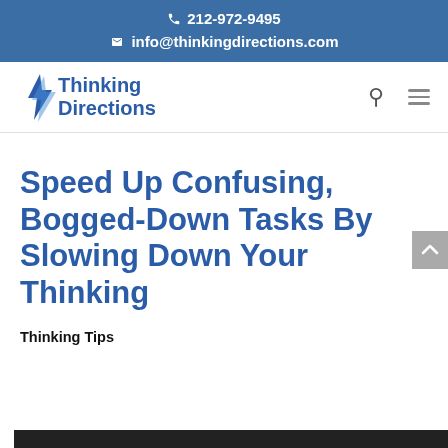212-972-9495  info@thinkingdirections.com
[Figure (logo): Thinking Directions logo with stylized lightning bolt graphic and bold blue text]
Speed Up Confusing, Bogged-Down Tasks By Slowing Down Your Thinking
Thinking Tips